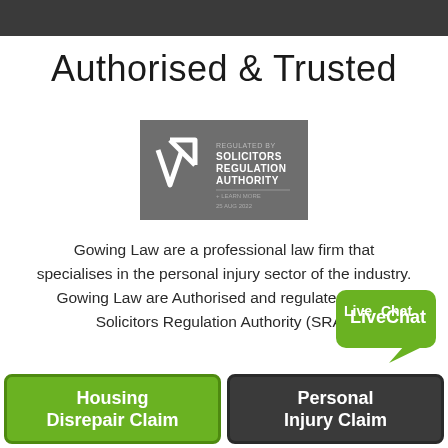Authorised & Trusted
[Figure (logo): Solicitors Regulation Authority regulated badge — grey background with SRA chevron/arrow logo and text: REGULATED BY SOLICITORS REGULATION AUTHORITY + LEARN MORE 25 AUG 2022]
Gowing Law are a professional law firm that specialises in the personal injury sector of the industry. Gowing Law are Authorised and regulated by the Solicitors Regulation Authority (SRA).
[Figure (logo): LiveChat green speech bubble logo with 'LiveChat' text in white]
Housing Disrepair Claim
Personal Injury Claim